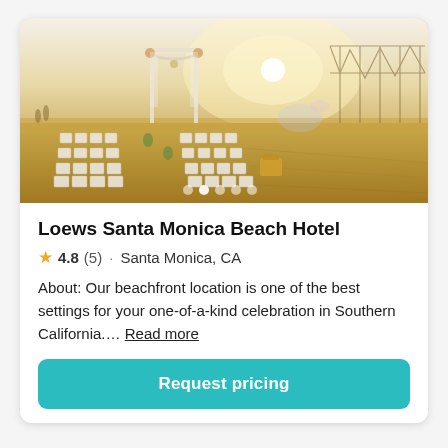[Figure (photo): Outdoor beach wedding setup at Santa Monica beach with white chairs arranged in rows, a floral arch, golden sunset light, and the Santa Monica Pier roller coaster visible in the background. Five navigation dots at the bottom of the image.]
Loews Santa Monica Beach Hotel
4.8 (5) · Santa Monica, CA
About: Our beachfront location is one of the best settings for your one-of-a-kind celebration in Southern California.... Read more
Request pricing